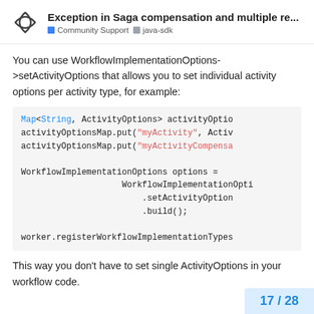Exception in Saga compensation and multiple re... | Community Support | java-sdk
You can use WorkflowImplementationOptions->setActivityOptions that allows you to set individual activity options per activity type, for example:
Map<String, ActivityOptions> activityOptio
activityOptionsMap.put("myActivity", Activ
activityOptionsMap.put("myActivityCompensa

WorkflowImplementationOptions options =
                    WorkflowImplementationOpti
                        .setActivityOption
                        .build();

worker.registerWorkflowImplementationTypes
This way you don't have to set single ActivityOptions in your workflow code.
17 / 28